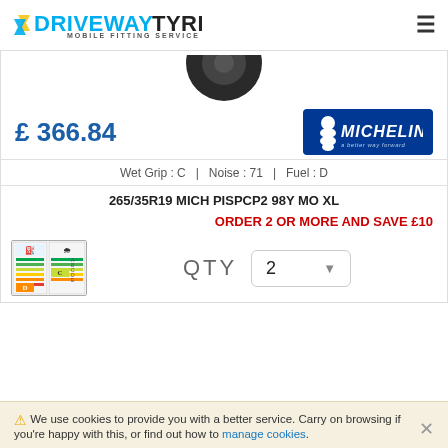DRIVEWAYTYRES.COM MOBILE FITTING SERVICE
[Figure (photo): Partial tyre image, top portion visible, black rubber tyre on white background]
£ 366.84
[Figure (logo): Michelin logo with Michelin man and blue background, tagline 'a better way forward']
Wet Grip : C   |   Noise : 71   |   Fuel : D
265/35R19 MICH PISPCP2 98Y MO XL
ORDER 2 OR MORE AND SAVE £10
[Figure (illustration): EU tyre energy label showing fuel efficiency D and wet grip C ratings]
QTY  2
We use cookies to provide you with a better service. Carry on browsing if you're happy with this, or find out how to manage cookies.